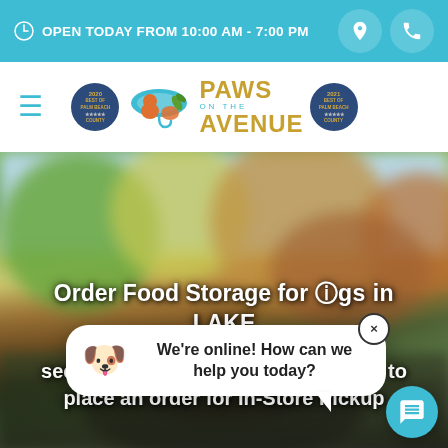OPEN TODAY FROM 10:00 AM - 7:00 PM
[Figure (logo): Paws on the Avenue logo with two Best of Palm Beach badges on either side]
[Figure (photo): Blurry outdoor background with dog, text overlay reading 'Order Food Storage for Dogs in LAKE... The Best An... see what you're looking for? Call us to place an order for In-Store Pickup']
Order Food Storage for Dogs in LAKE
The Best An... see what you're looking for? Call us to place an order for In-Store Pickup
[Figure (screenshot): Chat popup balloon with dog emoji and text 'We're online! How can we help you today?' with X close button and teal chat button]